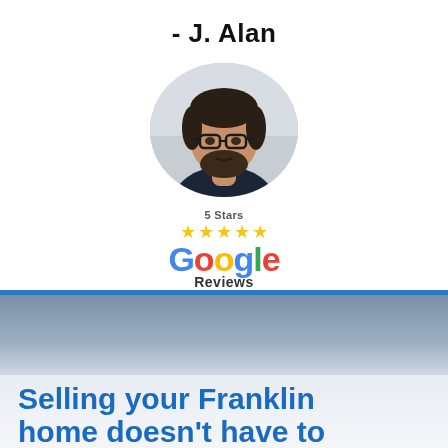- J. Alan
[Figure (photo): Circular portrait photo of a man with glasses and a beard, wearing a dark top, against a light background.]
[Figure (logo): 5 Stars Google Reviews logo with gold stars above the Google wordmark and 'Reviews' text below.]
[Figure (photo): Blurred outdoor background photo in blue-grey tones, used as a section divider.]
Selling your Franklin home doesn't have to